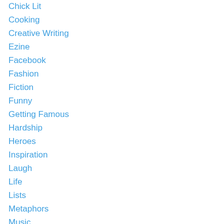Chick Lit
Cooking
Creative Writing
Ezine
Facebook
Fashion
Fiction
Funny
Getting Famous
Hardship
Heroes
Inspiration
Laugh
Life
Lists
Metaphors
Music
Mystery
Non-Fiction
Our Moments